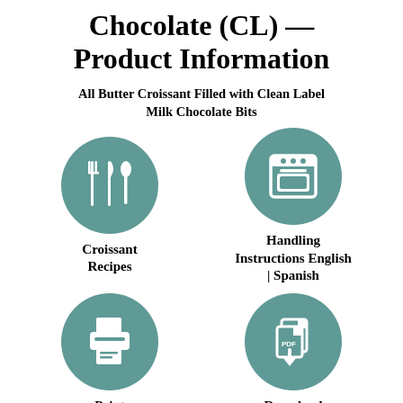Chocolate (CL) — Product Information
All Butter Croissant Filled with Clean Label Milk Chocolate Bits
[Figure (illustration): Teal circle with white fork, knife, and spoon icons]
Croissant Recipes
[Figure (illustration): Teal circle with white oven/stove icon]
Handling Instructions English | Spanish
[Figure (illustration): Teal circle with white printer icon]
Print Page
[Figure (illustration): Teal circle with white PDF download icon]
Download PDF